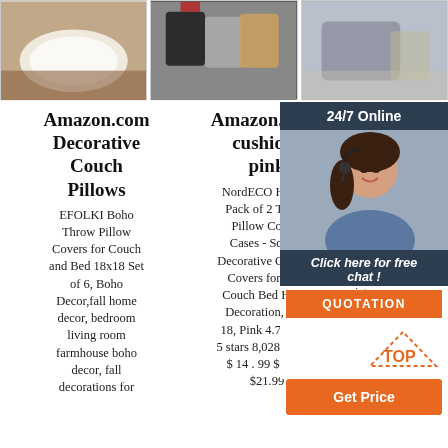[Figure (photo): Three product photos in a row: white sheepskin rug on wood floor, black/grey/tan throw pillow covers, grey blanket on chair]
Amazon.com Decorative Couch Pillows
Amazon.com: cushions pink
Th... Pi...
EFOLKI Boho Throw Pillow Covers for Couch and Bed 18x18 Set of 6, Boho Decor,fall home decor, bedroom living room farmhouse boho decor, fall decorations for
NordECO HOME Pack of 2 Throw Pillow Covers Cases - Square Decorative Cushion Covers for Sofa Couch Bed Home Decoration, 18 x 18, Pink 4.7 out of 5 stars 8,028 $14.99 $ 14 . 99 $21.99 $21.99
Shop P... for exp... throw pillow... update... Our pillow... classic styles, prints and colors.
[Figure (infographic): 24/7 Online chat support ad with female agent wearing headset, Click here for free chat!, QUOTATION button, TOP arrow icon, Get Price button]